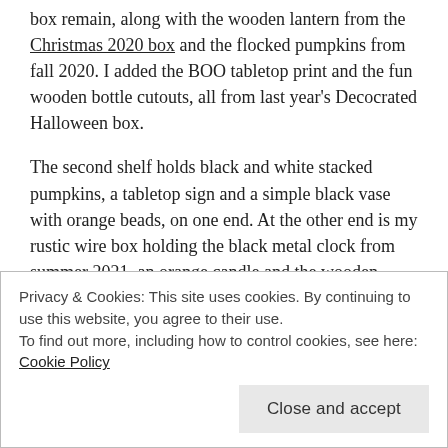box remain, along with the wooden lantern from the Christmas 2020 box and the flocked pumpkins from fall 2020. I added the BOO tabletop print and the fun wooden bottle cutouts, all from last year's Decocrated Halloween box.
The second shelf holds black and white stacked pumpkins, a tabletop sign and a simple black vase with orange beads, on one end. At the other end is my rustic wire box holding the black metal clock from summer 2021, an orange candle and the wooden plaque from last year's fall crate.
Privacy & Cookies: This site uses cookies. By continuing to use this website, you agree to their use.
To find out more, including how to control cookies, see here: Cookie Policy